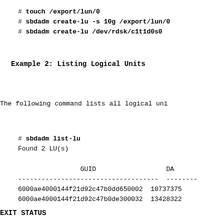# touch /export/lun/0
# sbdadm create-lu -s 10g /export/lun/0
# sbdadm create-lu /dev/rdsk/c1t1d0s0
Example 2: Listing Logical Units
The following command lists all logical uni
# sbdadm list-lu
Found 2 LU(s)

                GUID                  DA
------------------------------------  --------
6000ae4000144f21d92c47b0dd650002  10737375
6000ae4000144f21d92c47b0de300032  13428322
EXIT STATUS